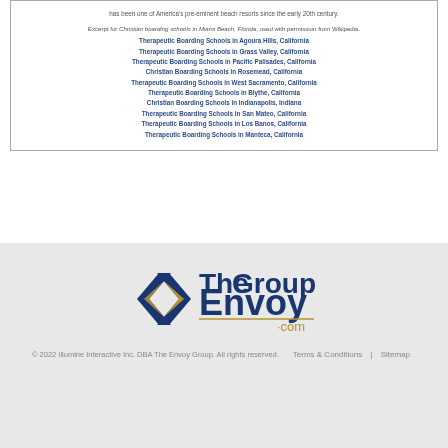has been one of America's pre-eminent beach resorts since the early 20th century.
Excerpt for Christian boarding schools in Miami Beach, Florida, used with permission from Wikipedia.
Therapeutic Boarding Schools in Agoura Hills, California
Therapeutic Boarding Schools in Grass Valley, California
Therapeutic Boarding Schools in Pacific Palisades, California
Christian Boarding Schools in Rosemead, California
Therapeutic Boarding Schools in West Sacramento, California
Therapeutic Boarding Schools in Blythe, California
Christian Boarding Schools in Indianapolis, Indiana
Therapeutic Boarding Schools in San Mateo, California
Therapeutic Boarding Schools in Los Banos, California
Therapeutic Boarding Schools in Manteca, California
[Figure (logo): The Envoy Group .com logo with blue arrow/star icon]
© 2022 Illumine Interactive Inc. DBA The Envoy Group. All rights reserved. Terms & Conditions | Sitemap